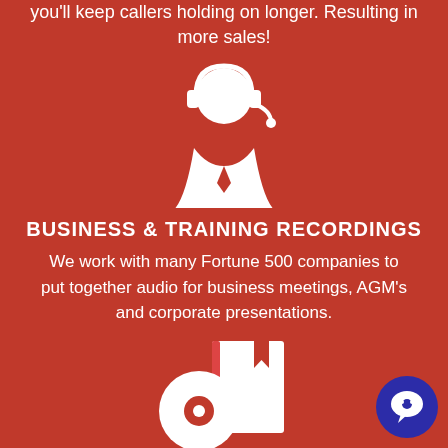you'll keep callers holding on longer. Resulting in more sales!
[Figure (illustration): White icon of a person wearing a headset with a tie, representing a call center agent or business professional]
BUSINESS & TRAINING RECORDINGS
We work with many Fortune 500 companies to put together audio for business meetings, AGM's and corporate presentations.
[Figure (illustration): White icon of a CD disc and a book with bookmark, representing audio book or recording media]
AUDIO BOOK VOICEOVER NARRATORS
[Figure (other): Dark blue circular chat bubble button in the bottom right corner]